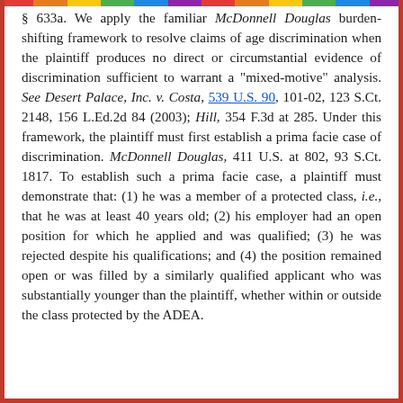§ 633a. We apply the familiar McDonnell Douglas burden-shifting framework to resolve claims of age discrimination when the plaintiff produces no direct or circumstantial evidence of discrimination sufficient to warrant a "mixed-motive" analysis. See Desert Palace, Inc. v. Costa, 539 U.S. 90, 101-02, 123 S.Ct. 2148, 156 L.Ed.2d 84 (2003); Hill, 354 F.3d at 285. Under this framework, the plaintiff must first establish a prima facie case of discrimination. McDonnell Douglas, 411 U.S. at 802, 93 S.Ct. 1817. To establish such a prima facie case, a plaintiff must demonstrate that: (1) he was a member of a protected class, i.e., that he was at least 40 years old; (2) his employer had an open position for which he applied and was qualified; (3) he was rejected despite his qualifications; and (4) the position remained open or was filled by a similarly qualified applicant who was substantially younger than the plaintiff, whether within or outside the class protected by the ADEA.